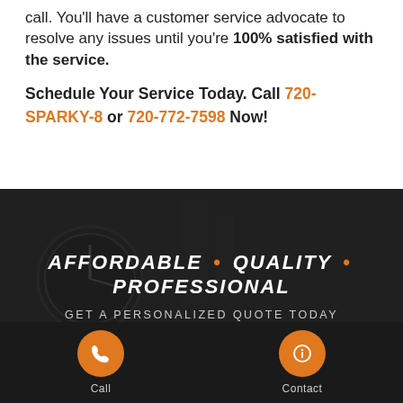call. You'll have a customer service advocate to resolve any issues until you're 100% satisfied with the service.
Schedule Your Service Today. Call 720-SPARKY-8 or 720-772-7598 Now!
[Figure (photo): Dark background image showing electrical/industrial equipment with overlaid text: AFFORDABLE • QUALITY • PROFESSIONAL and GET A PERSONALIZED QUOTE TODAY]
Call
Contact